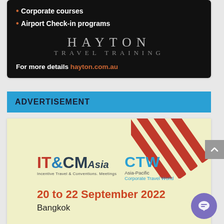• Corporate courses
• Airport Check-in programs
[Figure (logo): Hayton Travel Training logo in grey/white text on black background]
For more details hayton.com.au
ADVERTISEMENT
[Figure (logo): IT&CM Asia and CTW Asia-Pacific Corporate Travel World logos on cream/yellow background with red diagonal stripes. Event: 20 to 22 September 2022, Bangkok.]